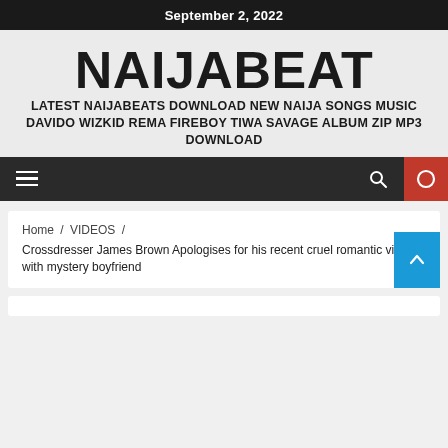September 2, 2022
NAIJABEAT
LATEST NAIJABEATS DOWNLOAD NEW NAIJA SONGS MUSIC DAVIDO WIZKID REMA FIREBOY TIWA SAVAGE ALBUM ZIP MP3 DOWNLOAD
Home / VIDEOS / Crossdresser James Brown Apologises for his recent cruel romantic video with mystery boyfriend